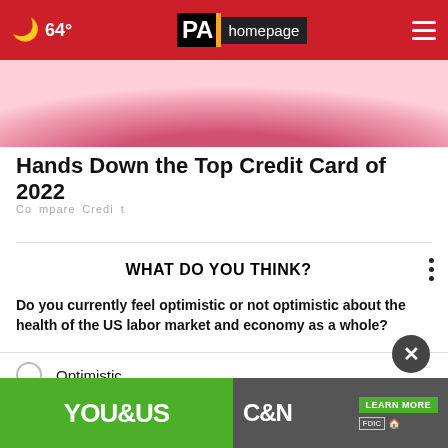64° PA homepage
[Figure (photo): Photo of a person wearing a pink top, partially visible from mid-chest up]
Hands Down the Top Credit Card of 2022
CompareCredit
WHAT DO YOU THINK?
Do you currently feel optimistic or not optimistic about the health of the US labor market and economy as a whole?
Optimistic
Not optimistic
I'm not sure
[Figure (infographic): Bottom banner advertisement: YOU&US C&N LEARN MORE FDIC]